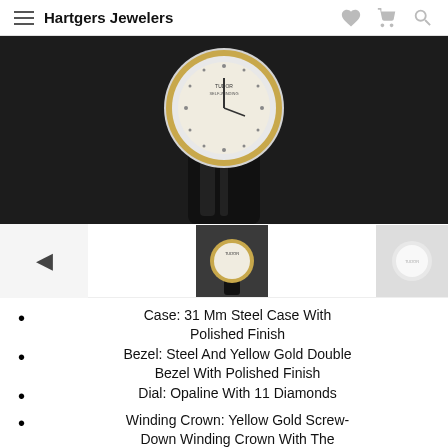Hartgers Jewelers
[Figure (photo): Close-up product photo of a Tudor watch with white/cream dial, steel and yellow gold bezel, and black strap, on dark background]
[Figure (photo): Thumbnail navigation row with previous arrow, watch thumbnail showing front view, and second thumbnail showing side view of watch]
Case: 31 Mm Steel Case With Polished Finish
Bezel: Steel And Yellow Gold Double Bezel With Polished Finish
Dial: Opaline With 11 Diamonds
Winding Crown: Yellow Gold Screw-Down Winding Crown With The Tudor Logo